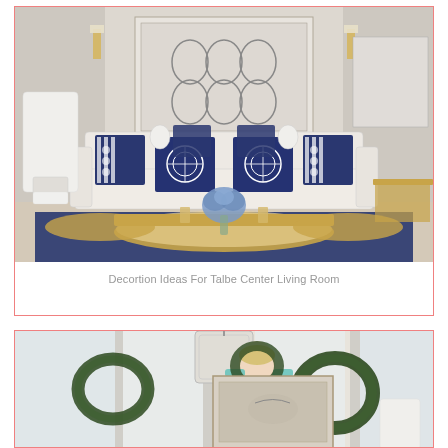[Figure (photo): Interior photo of a coastal-style living room with a white sofa, navy blue and white pillows with sand dollar motifs, striped throw pillows, a gold-framed oval coffee table with blue hydrangea arrangement, white table lamp, decorative wall art, and navy blue area rug.]
Decortion Ideas For Talbe Center Living Room
[Figure (photo): Interior photo of a bright sunroom or living room with white paneled walls, tall windows, a large pendant lantern light fixture, a woman in teal holding a wreath, two dark green wreaths, a lamp with white shade, and framed botanical artwork.]